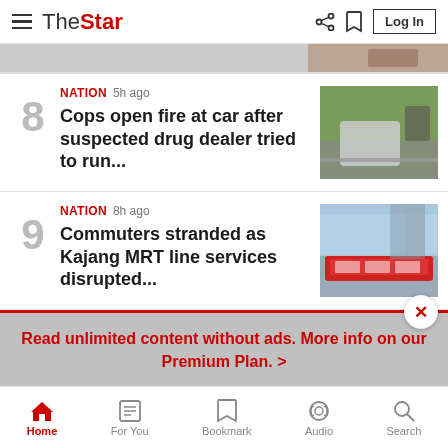The Star — hamburger menu, share, bookmark, Log In
[Figure (screenshot): Partial top image strip showing a cropped photo]
8 NATION 5h ago — Cops open fire at car after suspected drug dealer tried to run...
9 NATION 8h ago — Commuters stranded as Kajang MRT line services disrupted...
Read unlimited content without ads. More info on our Premium Plan. >
Home | For You | Bookmark | Audio | Search